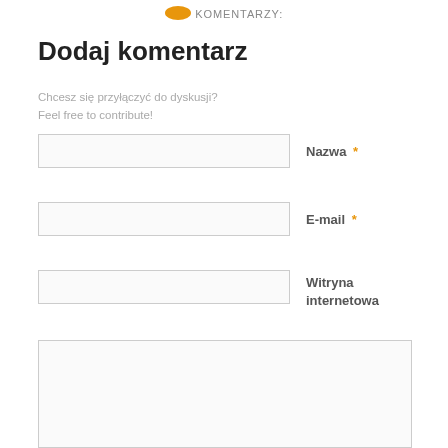KOMENTARZY:
Dodaj komentarz
Chcesz się przyłączyć do dyskusji?
Feel free to contribute!
Nazwa *
E-mail *
Witryna internetowa